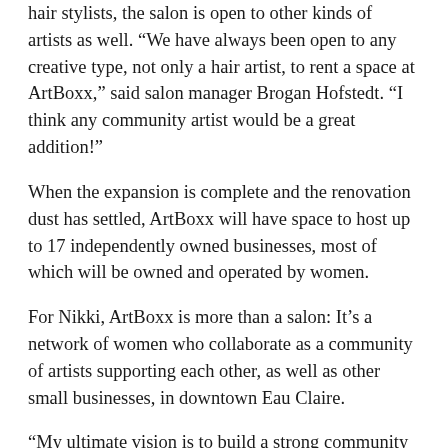hair stylists, the salon is open to other kinds of artists as well. “We have always been open to any creative type, not only a hair artist, to rent a space at ArtBoxx,” said salon manager Brogan Hofstedt. “I think any community artist would be a great addition!”
When the expansion is complete and the renovation dust has settled, ArtBoxx will have space to host up to 17 independently owned businesses, most of which will be owned and operated by women.
For Nikki, ArtBoxx is more than a salon: It’s a network of women who collaborate as a community of artists supporting each other, as well as other small businesses, in downtown Eau Claire.
“My ultimate vision is to build a strong community of women and to create a resource for women in general,” Nikki said.